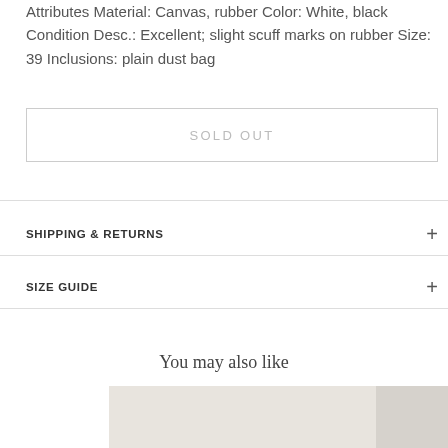Attributes Material: Canvas, rubber Color: White, black Condition Desc.: Excellent; slight scuff marks on rubber Size: 39 Inclusions: plain dust bag
SOLD OUT
SHIPPING & RETURNS
SIZE GUIDE
You may also like
[Figure (photo): Product thumbnail images below 'You may also like' section]